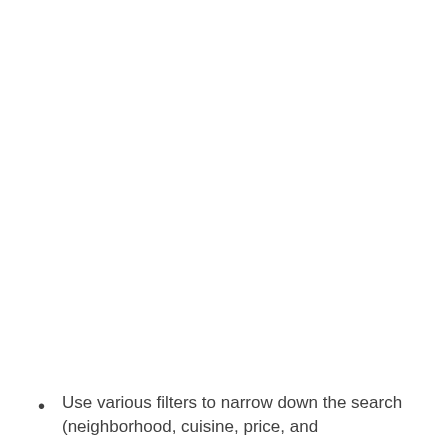Use various filters to narrow down the search (neighborhood, cuisine, price, and